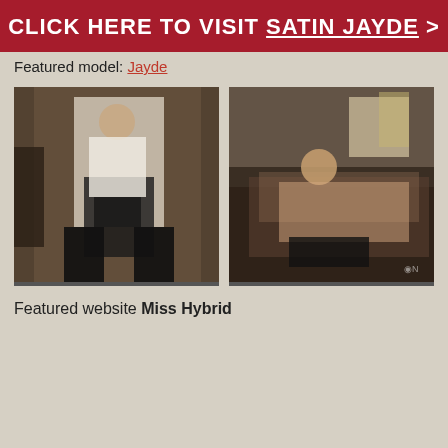CLICK HERE TO VISIT SATIN JAYDE >
Featured model: Jayde
[Figure (photo): Woman in white blouse and black skirt with black stockings and heels seated in ornate interior]
[Figure (photo): Woman in black lingerie reclining on a leather sofa with leopard print pillow in interior setting]
Featured website Miss Hybrid